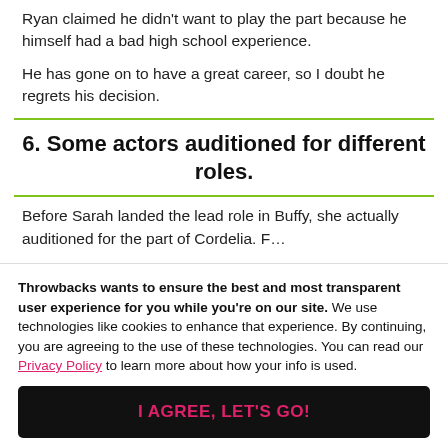Ryan claimed he didn't want to play the part because he himself had a bad high school experience.
He has gone on to have a great career, so I doubt he regrets his decision.
6. Some actors auditioned for different roles.
Before Sarah landed the lead role in Buffy, she actually auditioned for the part of Cordelia. F...
Throwbacks wants to ensure the best and most transparent user experience for you while you're on our site. We use technologies like cookies to enhance that experience. By continuing, you are agreeing to the use of these technologies. You can read our Privacy Policy to learn more about how your info is used.
I AGREE, LET'S GO!